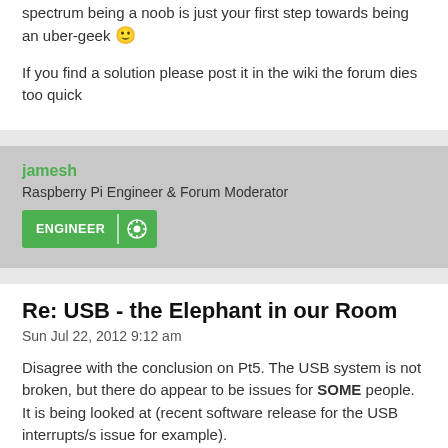spectrum being a noob is just your first step towards being an uber-geek 🙂
If you find a solution please post it in the wiki the forum dies too quick
jamesh
Raspberry Pi Engineer & Forum Moderator
Re: USB - the Elephant in our Room
Sun Jul 22, 2012 9:12 am
Disagree with the conclusion on Pt5. The USB system is not broken, but there do appear to be issues for SOME people. It is being looked at (recent software release for the USB interrupts/s issue for example).
The Foundation does pay attention on on stuff like this!